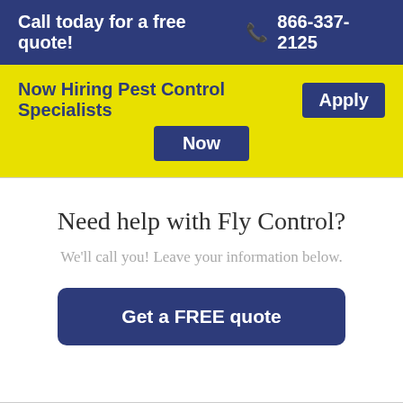Call today for a free quote! 📞 866-337-2125
Now Hiring Pest Control Specialists  Apply Now
Need help with Fly Control?
We'll call you! Leave your information below.
Get a FREE quote